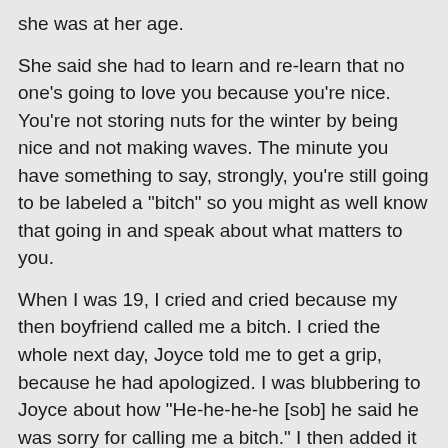she was at her age.
She said she had to learn and re-learn that no one's going to love you because you're nice. You're not storing nuts for the winter by being nice and not making waves. The minute you have something to say, strongly, you're still going to be labeled a "bitch" so you might as well know that going in and speak about what matters to you.
When I was 19, I cried and cried because my then boyfriend called me a bitch. I cried the whole next day, Joyce told me to get a grip, because he had apologized. I was blubbering to Joyce about how "He-he-he-he [sob] he said he was sorry for calling me a bitch." I then added it was the sweetest thing.
How Joyce avoided slapping me, I'll never know.
But "bitch" was the word I feared. I think a lot of women do. I've learned from a lot of strong women in the last years but Rebecca, as she always does, cut right to the chase: "The choices are doormat or bitch. Which do you want to be?"